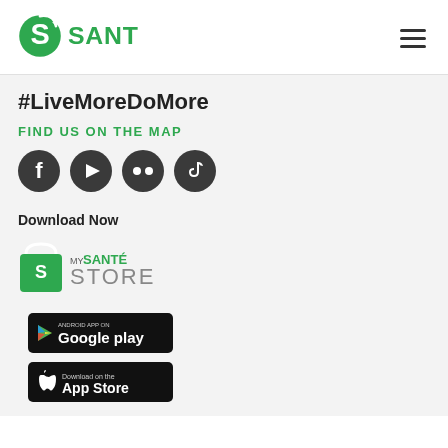[Figure (logo): SANTÉ green logo with circular S icon]
#LiveMoreDoMore
FIND US ON THE MAP
[Figure (infographic): Social media icons: Facebook, YouTube, Flickr, TikTok in dark circles]
Download Now
[Figure (logo): My SANTÉ Store logo with shopping bag icon]
[Figure (screenshot): Google Play store badge - Android App On Google play]
[Figure (screenshot): Apple App Store - Download on the App Store badge]